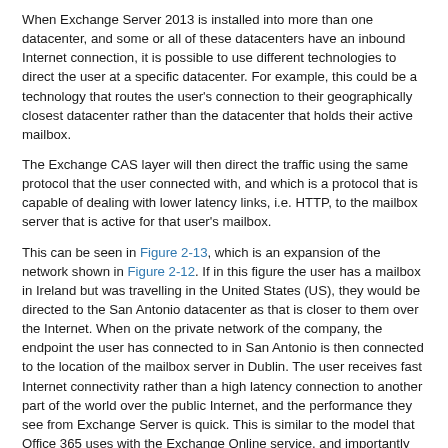When Exchange Server 2013 is installed into more than one datacenter, and some or all of these datacenters have an inbound Internet connection, it is possible to use different technologies to direct the user at a specific datacenter. For example, this could be a technology that routes the user's connection to their geographically closest datacenter rather than the datacenter that holds their active mailbox.
The Exchange CAS layer will then direct the traffic using the same protocol that the user connected with, and which is a protocol that is capable of dealing with lower latency links, i.e. HTTP, to the mailbox server that is active for that user's mailbox.
This can be seen in Figure 2-13, which is an expansion of the network shown in Figure 2-12. If in this figure the user has a mailbox in Ireland but was travelling in the United States (US), they would be directed to the San Antonio datacenter as that is closer to them over the Internet. When on the private network of the company, the endpoint the user has connected to in San Antonio is then connected to the location of the mailbox server in Dublin. The user receives fast Internet connectivity rather than a high latency connection to another part of the world over the public Internet, and the performance they see from Exchange Server is quick. This is similar to the model that Office 365 uses with the Exchange Online service, and importantly for namespace simplicity, allows the user to use a single namespace regardless of their location or the location of their mailbox. In this example, if this was Contoso, all users throughout the world would use mail.contoso.com to access Exchange Server.